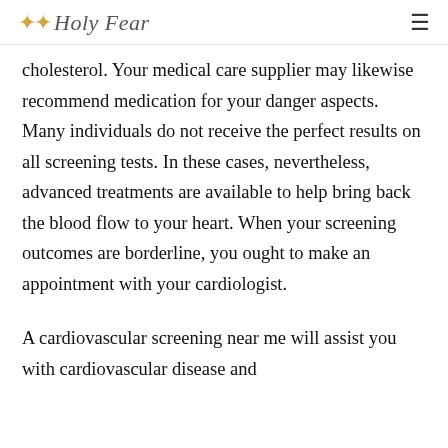✦✦ Holy Fear  ≡
cholesterol. Your medical care supplier may likewise recommend medication for your danger aspects. Many individuals do not receive the perfect results on all screening tests. In these cases, nevertheless, advanced treatments are available to help bring back the blood flow to your heart. When your screening outcomes are borderline, you ought to make an appointment with your cardiologist.
A cardiovascular screening near me will assist you with cardiovascular disease and